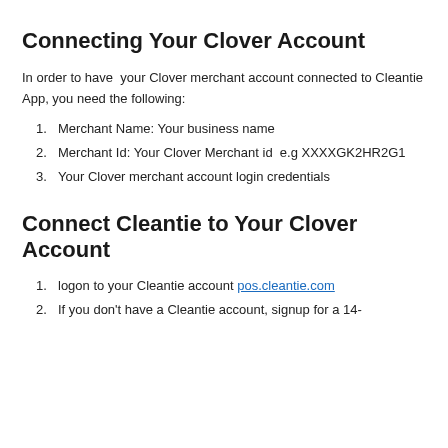Connecting Your Clover Account
In order to have  your Clover merchant account connected to Cleantie App, you need the following:
Merchant Name: Your business name
Merchant Id: Your Clover Merchant id  e.g XXXXGK2HR2G1
Your Clover merchant account login credentials
Connect Cleantie to Your Clover Account
logon to your Cleantie account pos.cleantie.com
If you don't have a Cleantie account, signup for a 14-